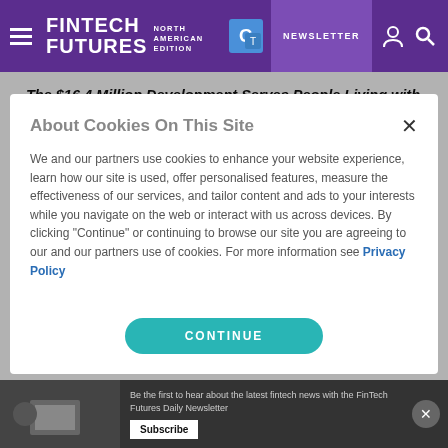FINTECH FUTURES NORTH AMERICAN EDITION | NEWSLETTER
The $16.4 Million Development Serves People Living with HIV
AUSTIN, Texas–(BUSINESS WIRE)–Prosperity Bank and the
About Cookies On This Site
We and our partners use cookies to enhance your website experience, learn how our site is used, offer personalised features, measure the effectiveness of our services, and tailor content and ads to your interests while you navigate on the web or interact with us across devices. By clicking "Continue" or continuing to browse our site you are agreeing to our and our partners use of cookies. For more information see Privacy Policy
CONTINUE
Be the first to hear about the latest fintech news with the FinTech Futures Daily Newsletter
Subscribe